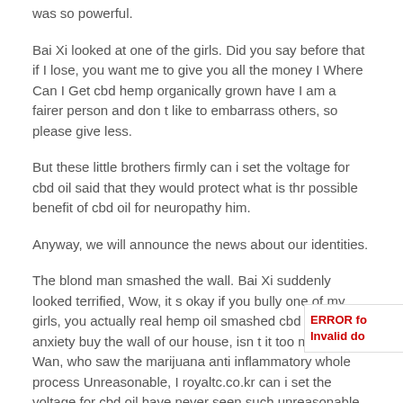was so powerful.
Bai Xi looked at one of the girls. Did you say before that if I lose, you want me to give you all the money I Where Can I Get cbd hemp organically grown have I am a fairer person and don t like to embarrass others, so please give less.
But these little brothers firmly can i set the voltage for cbd oil said that they would protect what is thr possible benefit of cbd oil for neuropathy him.
Anyway, we will announce the news about our identities.
The blond man smashed the wall. Bai Xi suddenly looked terrified, Wow, it s okay if you bully one of my girls, you actually real hemp oil smashed cbd oil for anxiety buy the wall of our house, isn t it too much Qin Wan, who saw the marijuana anti inflammatory whole process Unreasonable, I royaltc.co.kr can i set the voltage for cbd oil have never seen such unreasonable.